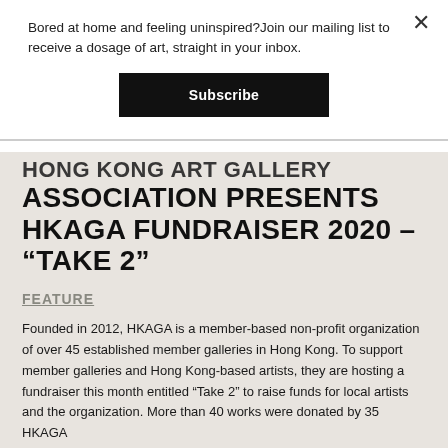Bored at home and feeling uninspired?Join our mailing list to receive a dosage of art, straight in your inbox.
Subscribe
ASSOCIATION PRESENTS HKAGA FUNDRAISER 2020 – “TAKE 2”
FEATURE
Founded in 2012, HKAGA is a member-based non-profit organization of over 45 established member galleries in Hong Kong. To support member galleries and Hong Kong-based artists, they are hosting a fundraiser this month entitled “Take 2” to raise funds for local artists and the organization. More than 40 works were donated by 35 HKAGA